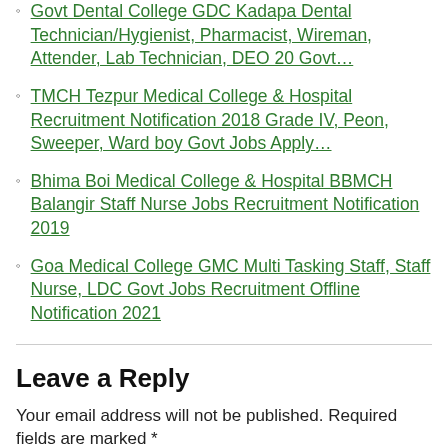Govt Dental College GDC Kadapa Dental Technician/Hygienist, Pharmacist, Wireman, Attender, Lab Technician, DEO 20 Govt…
TMCH Tezpur Medical College & Hospital Recruitment Notification 2018 Grade IV, Peon, Sweeper, Ward boy Govt Jobs Apply…
Bhima Boi Medical College & Hospital BBMCH Balangir Staff Nurse Jobs Recruitment Notification 2019
Goa Medical College GMC Multi Tasking Staff, Staff Nurse, LDC Govt Jobs Recruitment Offline Notification 2021
Leave a Reply
Your email address will not be published. Required fields are marked *